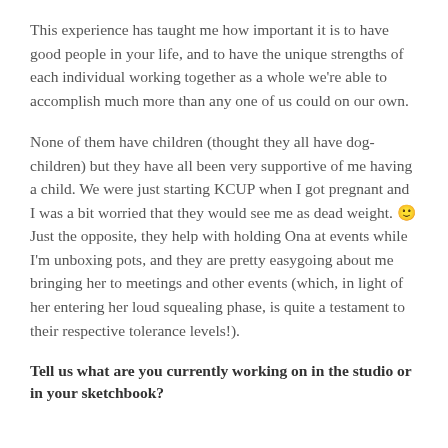This experience has taught me how important it is to have good people in your life, and to have the unique strengths of each individual working together as a whole we're able to accomplish much more than any one of us could on our own.
None of them have children (thought they all have dog-children) but they have all been very supportive of me having a child. We were just starting KCUP when I got pregnant and I was a bit worried that they would see me as dead weight. 🙂 Just the opposite, they help with holding Ona at events while I'm unboxing pots, and they are pretty easygoing about me bringing her to meetings and other events (which, in light of her entering her loud squealing phase, is quite a testament to their respective tolerance levels!).
Tell us what are you currently working on in the studio or in your sketchbook?